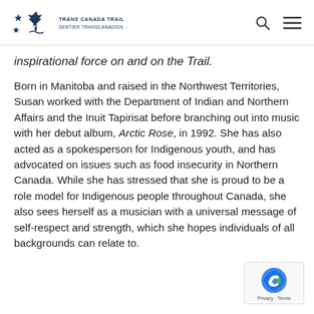TRANS CANADA TRAIL / SENTIER TRANSCANADIEN
inspirational force on and on the Trail.
Born in Manitoba and raised in the Northwest Territories, Susan worked with the Department of Indian and Northern Affairs and the Inuit Tapirisat before branching out into music with her debut album, Arctic Rose, in 1992. She has also acted as a spokesperson for Indigenous youth, and has advocated on issues such as food insecurity in Northern Canada. While she has stressed that she is proud to be a role model for Indigenous people throughout Canada, she also sees herself as a musician with a universal message of self-respect and strength, which she hopes individuals of all backgrounds can relate to.